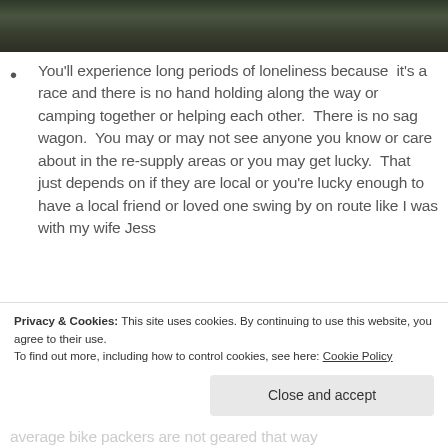[Figure (photo): Partial view of a misty forest with tall dark evergreen trees, cropped at top of page]
You'll experience long periods of loneliness because  it's a race and there is no hand holding along the way or camping together or helping each other.  There is no sag wagon.  You may or may not see anyone you know or care about in the re-supply areas or you may get lucky.  That just depends on if they are local or you're lucky enough to have a local friend or loved one swing by on route like I was with my wife Jess
average bike packers are not geared that way
Privacy & Cookies: This site uses cookies. By continuing to use this website, you agree to their use.
To find out more, including how to control cookies, see here: Cookie Policy